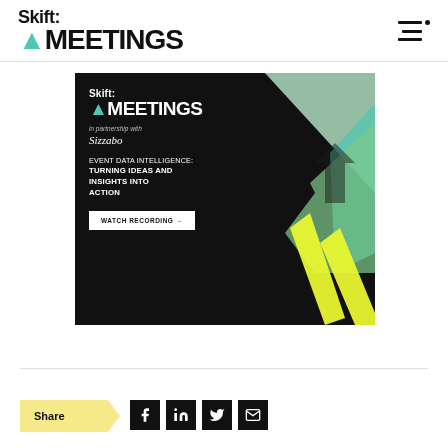Skift MEETINGS
[Figure (illustration): Skift Meetings advertisement banner in partnership with Sizzabo. Black background with geometric green and yellow shapes. Text reads: EVENT DATA INTELLIGENCE: TURNING IDEAS AND INSIGHTS INTO ACTION. Button: WATCH RECORDING →]
Share
[Figure (other): Social share icons: Facebook, LinkedIn, Twitter, Email]